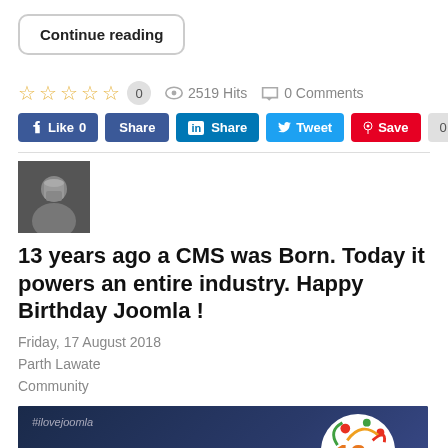Continue reading
☆ ☆ ☆ ☆ ☆  0   👁 2519 Hits   💬 0 Comments
[Figure (screenshot): Social sharing buttons: Like 0, Share (Facebook), Share (LinkedIn), Tweet, Save (Pinterest), 0]
[Figure (photo): Author avatar - black and white photo of a man]
13 years ago a CMS was Born. Today it powers an entire industry. Happy Birthday Joomla !
Friday, 17 August 2018
Parth Lawate
Community
[Figure (photo): Dark blue background image with #ilovejoomla hashtag text, a circular Joomla birthday logo with colorful splashes, the number 13, and the word 'Happy' in large white text]